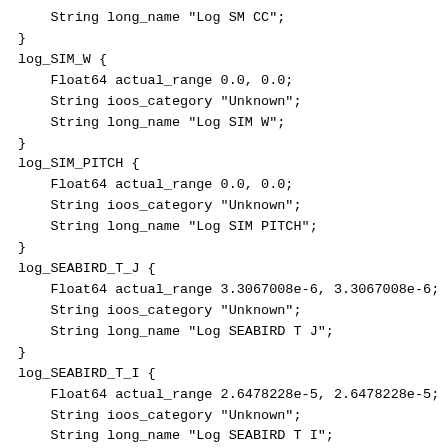String long_name "Log SM CC";
}
log_SIM_W {
    Float64 actual_range 0.0, 0.0;
    String ioos_category "Unknown";
    String long_name "Log SIM W";
}
log_SIM_PITCH {
    Float64 actual_range 0.0, 0.0;
    String ioos_category "Unknown";
    String long_name "Log SIM PITCH";
}
log_SEABIRD_T_J {
    Float64 actual_range 3.3067008e-6, 3.3067008e-6;
    String ioos_category "Unknown";
    String long_name "Log SEABIRD T J";
}
log_SEABIRD_T_I {
    Float64 actual_range 2.6478228e-5, 2.6478228e-5;
    String ioos_category "Unknown";
    String long_name "Log SEABIRD T I";
}
log_SEABIRD_T_H {
    Float64 actual_range 6.5166439e-4, 6.5166439e-4;
    String ioos_category "Unknown";
    String long_name "Log SEABIRD T H";